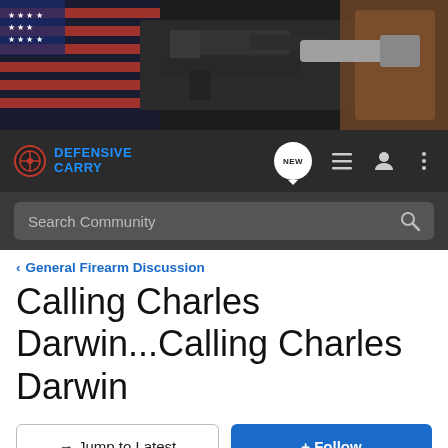[Figure (screenshot): Hero banner image with firearms and American flag on dark background]
[Figure (screenshot): Defensive Carry website navigation bar with logo, NEW badge, list icon, user icon, and menu icon]
[Figure (screenshot): Search Community search bar on dark background]
< General Firearm Discussion
Calling Charles Darwin...Calling Charles Darwin
→ Jump to Latest
+ Follow
1 - 20 of 37 Posts
1 of 2 ▶